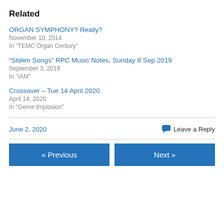Related
ORGAN SYMPHONY? Really?
November 10, 2014
In "TEMC Organ Century"
“Stolen Songs” RPC Music Notes, Sunday 8 Sep 2019
September 3, 2019
In "IAM"
Crossover – Tue 14 April 2020
April 14, 2020
In "Genre Implosion"
June 2, 2020   Leave a Reply
« Previous   Next »